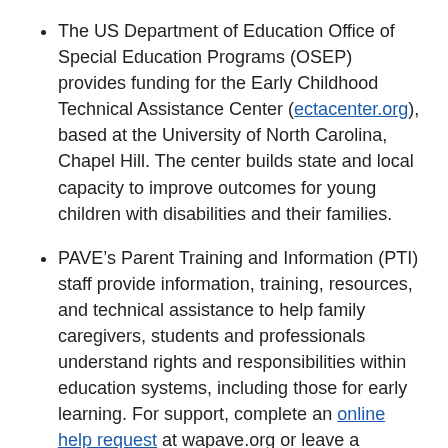The US Department of Education Office of Special Education Programs (OSEP) provides funding for the Early Childhood Technical Assistance Center (ectacenter.org), based at the University of North Carolina, Chapel Hill. The center builds state and local capacity to improve outcomes for young children with disabilities and their families.
PAVE’s Parent Training and Information (PTI) staff provide information, training, resources, and technical assistance to help family caregivers, students and professionals understand rights and responsibilities within education systems, including those for early learning. For support, complete an online help request at wapave.org or leave a message at the helpline: 1-800-572-7368/press 115.
Posted in 0-5 years, All Articles, Learning In...